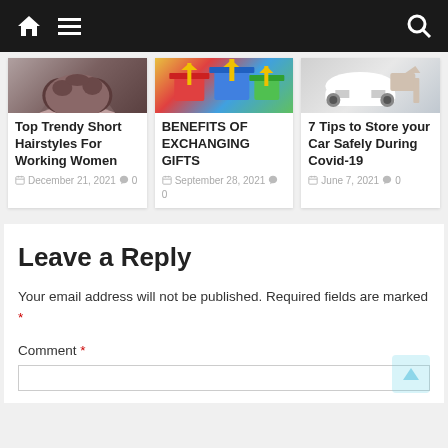Navigation bar with home icon, menu icon, and search icon
[Figure (screenshot): Card image for Top Trendy Short Hairstyles - partial image of woman with curly dark hair]
Top Trendy Short Hairstyles For Working Women
December 21, 2021  0
[Figure (screenshot): Card image for Benefits of Exchanging Gifts - colorful gift boxes with ribbons]
BENEFITS OF EXCHANGING GIFTS
September 28, 2021  0
[Figure (screenshot): Card image for 7 Tips to Store your Car Safely - miniature white car model]
7 Tips to Store your Car Safely During Covid-19
June 7, 2021  0
Leave a Reply
Your email address will not be published. Required fields are marked *
Comment *